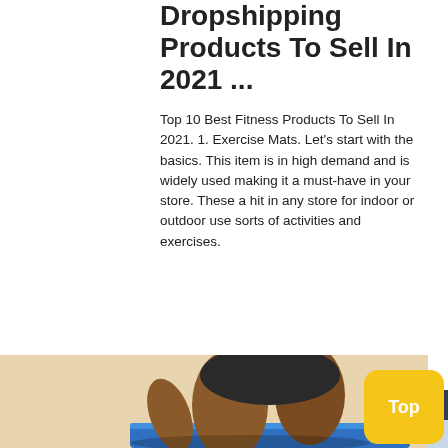Dropshipping Products To Sell In 2021 ...
Top 10 Best Fitness Products To Sell In 2021. 1. Exercise Mats. Let's start with the basics. This item is in high demand and is widely used making it a must-have in your store. These a hit in any store for indoor or outdoor use sorts of activities and exercises.
[Figure (other): Orange 'Get Price' button]
[Figure (other): 24/7 Online chat widget with female customer service representative wearing headset, dark background, 'Click here for free chat!' text and orange QUOTATION button]
[Figure (photo): Person exercising on a blue exercise mat, close-up of legs and torso]
[Figure (other): Yellow 'Top' button in bottom right corner]